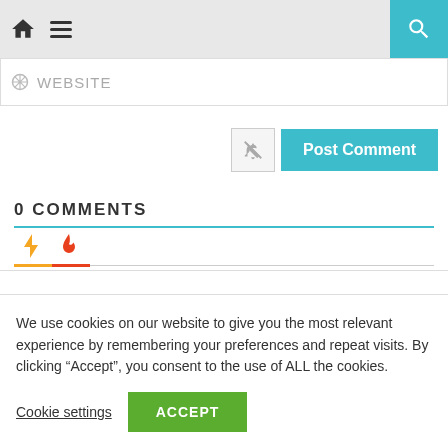Navigation bar with home icon, hamburger menu, and search button
WEBSITE
[Figure (screenshot): Post Comment button with bell-off icon]
0 COMMENTS
[Figure (infographic): Tab icons: lightning bolt (orange) and flame (red)]
We use cookies on our website to give you the most relevant experience by remembering your preferences and repeat visits. By clicking “Accept”, you consent to the use of ALL the cookies.
Cookie settings  ACCEPT